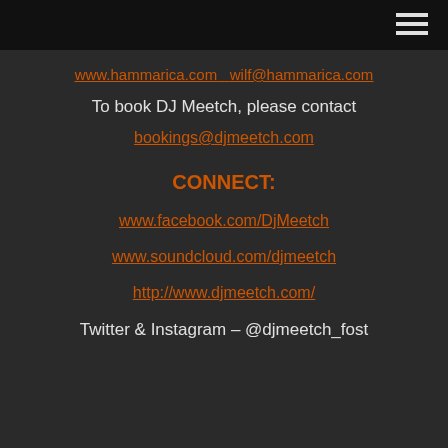[Figure (other): Top navigation bar with hamburger menu icon (three horizontal lines) on dark background]
www.hammarica.com   wilf@hammarica.com
To book DJ Meetch, please contact
bookings@djmeetch.com
CONNECT:
www.facebook.com/DjMeetch
www.soundcloud.com/djmeetch
http://www.djmeetch.com/
Twitter & Instagram – @djmeetch_fost